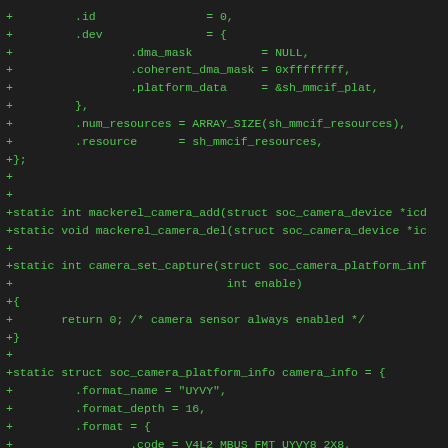+         .id                = 0,
+         .dev               = {
+                 .dma_mask          = NULL,
+                 .coherent_dma_mask = 0xffffffff,
+                 .platform_data     = &sh_mmcif_plat,
+         },
+         .num_resources = ARRAY_SIZE(sh_mmcif_resources),
+         .resource      = sh_mmcif_resources,
+};
+
+
+static int mackerel_camera_add(struct soc_camera_device *icd
+static void mackerel_camera_del(struct soc_camera_device *ic
+
+static int camera_set_capture(struct soc_camera_platform_inf
+                               int enable)
+{
+       return 0; /* camera sensor always enabled */
+}
+
+static struct soc_camera_platform_info camera_info = {
+         .format_name = "UYVY",
+         .format_depth = 16,
+         .format = {
+                 .code = V4L2_MBUS_FMT_UYVY8_2X8,